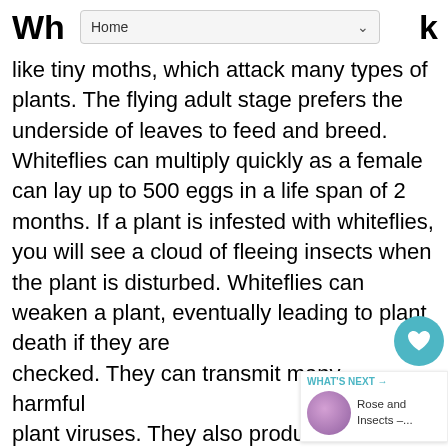Wh... Home k
like tiny moths, which attack many types of plants. The flying adult stage prefers the underside of leaves to feed and breed. Whiteflies can multiply quickly as a female can lay up to 500 eggs in a life span of 2 months. If a plant is infested with whiteflies, you will see a cloud of fleeing insects when the plant is disturbed. Whiteflies can weaken a plant, eventually leading to plant death if they are checked. They can transmit many harmful plant viruses. They also produce a sweet substance called honeydew (coveted by ants) which can lead to an unattractive bl fungal growth called sooty mold.